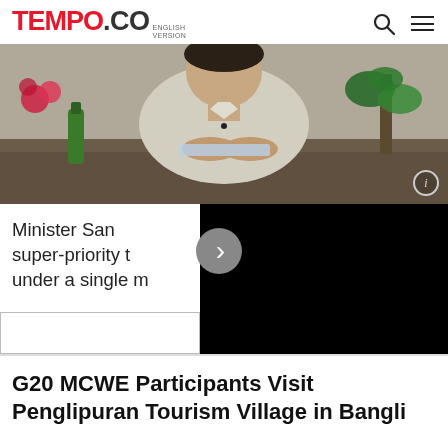TEMPO.CO ENGLISH VERSION
[Figure (photo): A man in a light gray uniform shirt sitting at a desk with a green bottle, flowers, and plants in the background]
Minister San... super-priority t... under a single m...
[Figure (screenshot): Black video overlay panel on the right side]
G20 MCWE Participants Visit Penglipuran Tourism Village in Bangli